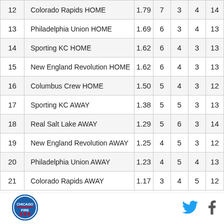| 12 | Colorado Rapids HOME | 1.79 | 7 | 3 | 4 | 14 |
| 13 | Philadelphia Union HOME | 1.69 | 6 | 3 | 4 | 13 |
| 14 | Sporting KC HOME | 1.62 | 6 | 4 | 3 | 13 |
| 15 | New England Revolution HOME | 1.62 | 6 | 4 | 3 | 13 |
| 16 | Columbus Crew HOME | 1.50 | 5 | 4 | 3 | 12 |
| 17 | Sporting KC AWAY | 1.38 | 5 | 5 | 3 | 13 |
| 18 | Real Salt Lake AWAY | 1.29 | 5 | 6 | 3 | 14 |
| 19 | New England Revolution AWAY | 1.25 | 4 | 5 | 3 | 12 |
| 20 | Philadelphia Union AWAY | 1.23 | 4 | 5 | 4 | 13 |
| 21 | Colorado Rapids AWAY | 1.17 | 3 | 4 | 5 | 12 |
[Figure (logo): Chicago Fire Soccer Club circular logo]
[Figure (other): Twitter bird icon]
[Figure (other): Facebook f icon]